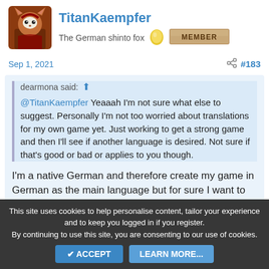[Figure (illustration): Avatar image of TitanKaempfer: a stylized fox character with red fur, wearing a white mask, on a brown/orange background]
TitanKaempfer
The German shinto fox
[Figure (illustration): Golden egg badge icon]
[Figure (illustration): MEMBER badge — tan/brown rectangular label with MEMBER text in bold]
Sep 1, 2021
#183
dearmona said:
@TitanKaempfer Yeaaah I'm not sure what else to suggest. Personally I'm not too worried about translations for my own game yet. Just working to get a strong game and then I'll see if another language is desired. Not sure if that's good or bad or applies to you though.
I'm a native German and therefore create my game in German as the main language but for sure I want to
This site uses cookies to help personalise content, tailor your experience and to keep you logged in if you register.
By continuing to use this site, you are consenting to our use of cookies.
ACCEPT
LEARN MORE...